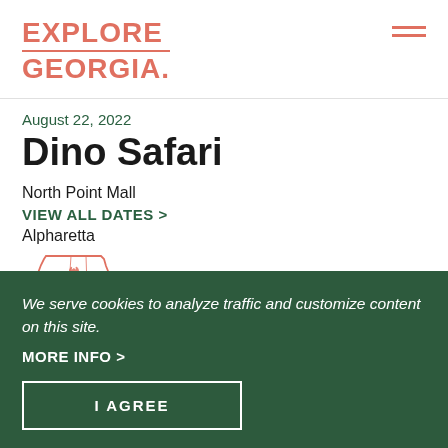EXPLORE GEORGIA
August 22, 2022
Dino Safari
North Point Mall
VIEW ALL DATES >
Alpharetta
[Figure (map): Outline map of Georgia state with a location marker indicating Alpharetta area in northern Georgia]
We serve cookies to analyze traffic and customize content on this site.
MORE INFO >
I AGREE